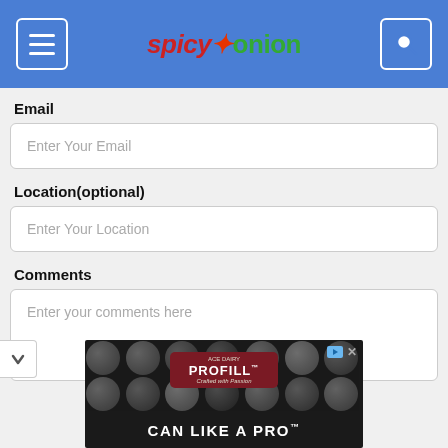spicyonion - navigation header with menu and search
Email
Enter Your Email
Location(optional)
Enter Your Location
Comments
Enter your comments here
[Figure (screenshot): Advertisement banner for PROFILL product with canned goods background and text 'CAN LIKE A PRO']